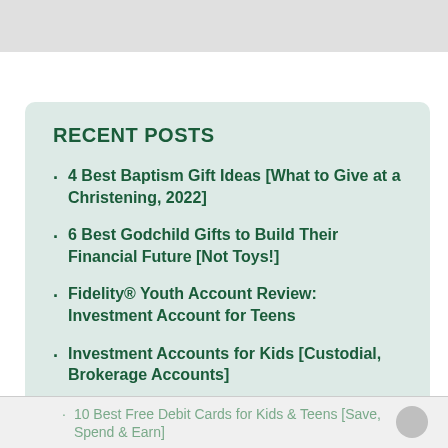RECENT POSTS
4 Best Baptism Gift Ideas [What to Give at a Christening, 2022]
6 Best Godchild Gifts to Build Their Financial Future [Not Toys!]
Fidelity® Youth Account Review: Investment Account for Teens
Investment Accounts for Kids [Custodial, Brokerage Accounts]
10 Best Free Debit Cards for Kids & Teens [Save, Spend & Earn]